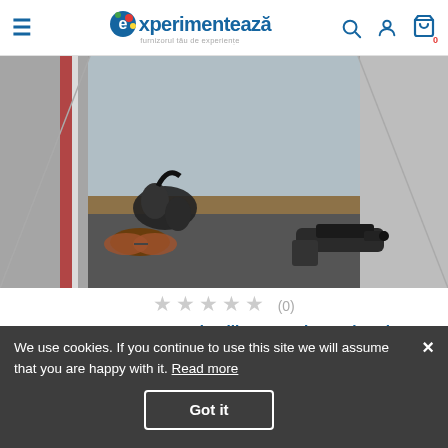Experimenteaza - furnizorul tau de experiente
[Figure (photo): Shooting range interior with headphones, sunglasses and a pistol on a mat, lane visible in background]
★★★★★ (0)
Test your courage and agility at a private shooting range in Brasov
RON249.00
Add to cart
We use cookies. If you continue to use this site we will assume that you are happy with it. Read more
Got it